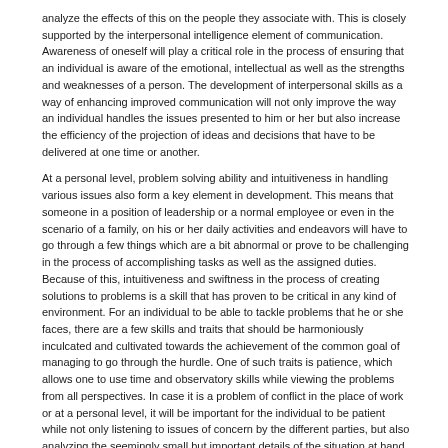analyze the effects of this on the people they associate with. This is closely supported by the interpersonal intelligence element of communication. Awareness of oneself will play a critical role in the process of ensuring that an individual is aware of the emotional, intellectual as well as the strengths and weaknesses of a person. The development of interpersonal skills as a way of enhancing improved communication will not only improve the way an individual handles the issues presented to him or her but also increase the efficiency of the projection of ideas and decisions that have to be delivered at one time or another.
At a personal level, problem solving ability and intuitiveness in handling various issues also form a key element in development. This means that someone in a position of leadership or a normal employee or even in the scenario of a family, on his or her daily activities and endeavors will have to go through a few things which are a bit abnormal or prove to be challenging in the process of accomplishing tasks as well as the assigned duties. Because of this, intuitiveness and swiftness in the process of creating solutions to problems is a skill that has proven to be critical in any kind of environment. For an individual to be able to tackle problems that he or she faces, there are a few skills and traits that should be harmoniously inculcated and cultivated towards the achievement of the common goal of managing to go through the hurdle. One of such traits is patience, which allows one to use time and observatory skills while viewing the problems from all perspectives. In case it is a problem of conflict in the place of work or at a personal level, it will be important for the individual to be patient while not only listening to issues of concern by the different parties, but also analyzing the seemingly small but important details of the situation at hand. Taking the role of a mediator is today the greatest way of leading a scenario of problem solving. Leadership comes in various ways regardless of the position in the workplace stratification in terms of the rank.